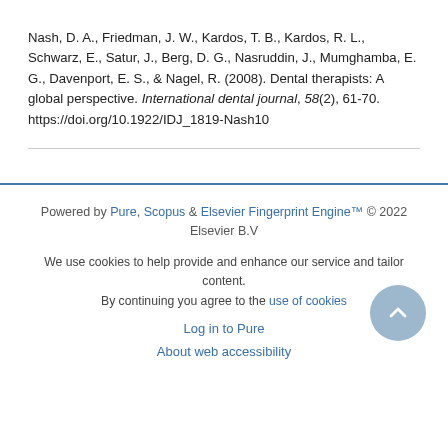Nash, D. A., Friedman, J. W., Kardos, T. B., Kardos, R. L., Schwarz, E., Satur, J., Berg, D. G., Nasruddin, J., Mumghamba, E. G., Davenport, E. S., & Nagel, R. (2008). Dental therapists: A global perspective. International dental journal, 58(2), 61-70. https://doi.org/10.1922/IDJ_1819-Nash10
Powered by Pure, Scopus & Elsevier Fingerprint Engine™ © 2022 Elsevier B.V
We use cookies to help provide and enhance our service and tailor content. By continuing you agree to the use of cookies
Log in to Pure
About web accessibility